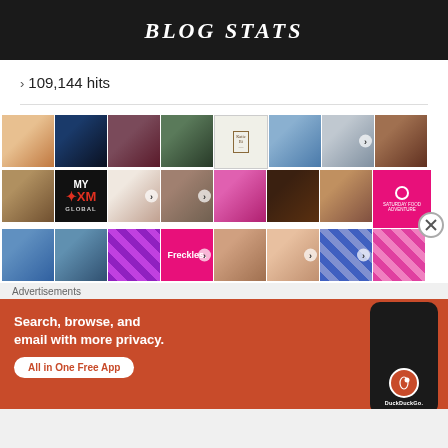BLOG STATS
109,144 hits
[Figure (photo): Grid of blogger avatar profile photos and icons, 3 rows of 8 thumbnails each]
Advertisements
[Figure (infographic): DuckDuckGo advertisement: Search, browse, and email with more privacy. All in One Free App. Orange background with phone graphic showing DuckDuckGo logo.]